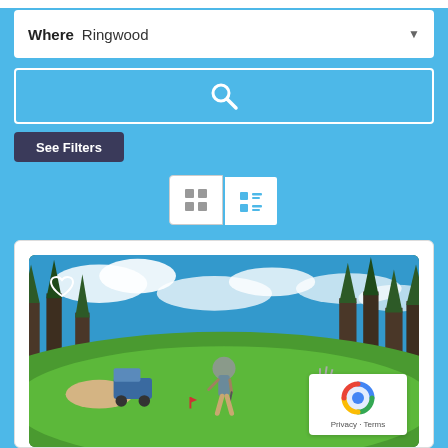Where  Ringwood
[Figure (screenshot): Search button with magnifying glass icon on blue background]
See Filters
[Figure (infographic): Grid view and list view toggle buttons]
[Figure (photo): Golf course scene with golfer walking on green fairway surrounded by pine trees under blue sky, golf cart on left, golf bag on right, reCAPTCHA badge in bottom right corner]